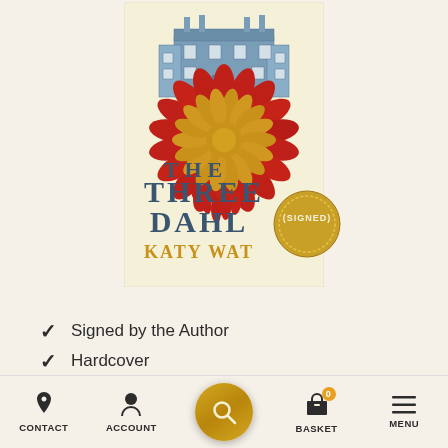[Figure (illustration): Book cover of 'The Three Dahlias' by Katy Watson showing a large stately home/mansion in blue/grey at the top, with large red and gold dahlia flowers below it, and the title text 'THE THREE DAHLIAS' in dark blue bold letters with 'KATY WATSON' in gold below. A gold circular 'SIGNED' badge overlays the lower right of the cover.]
Signed by the Author
Hardcover
UK First Edition, First Printing
CONTACT  ACCOUNT  [search]  BASKET  MENU